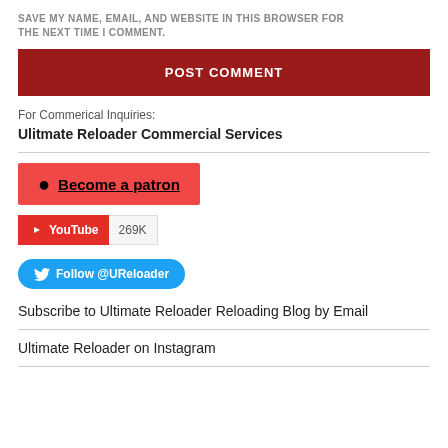SAVE MY NAME, EMAIL, AND WEBSITE IN THIS BROWSER FOR THE NEXT TIME I COMMENT.
POST COMMENT
For Commerical Inquiries:
Ulitmate Reloader Commercial Services
[Figure (other): Patreon button: red background with Patreon logo and text 'Become a patron']
[Figure (other): YouTube subscribe widget showing 269K subscribers]
[Figure (other): Twitter Follow button: blue pill-shaped button with bird icon and text 'Follow @UReloader']
Subscribe to Ultimate Reloader Reloading Blog by Email
Ultimate Reloader on Instagram